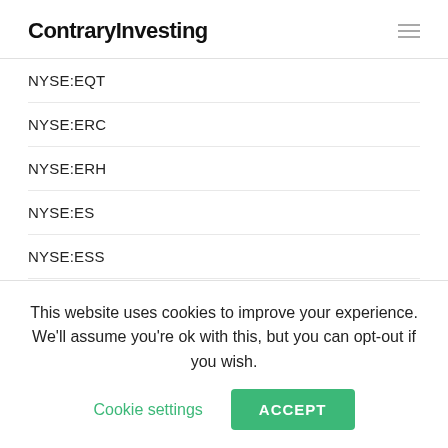ContraryInvesting
NYSE:EQT
NYSE:ERC
NYSE:ERH
NYSE:ES
NYSE:ESS
NYSE:ET
NYSE:ETB
NYSE:ETD
NYSE:ETF
This website uses cookies to improve your experience. We'll assume you're ok with this, but you can opt-out if you wish. Cookie settings ACCEPT